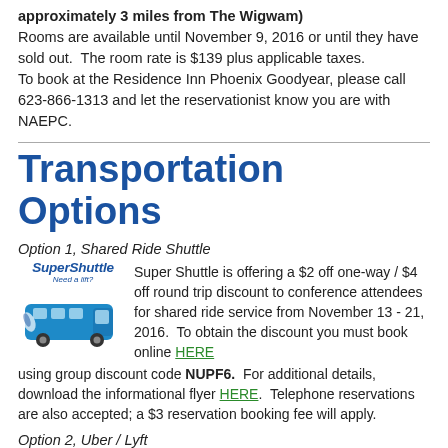approximately 3 miles from The Wigwam) Rooms are available until November 9, 2016 or until they have sold out.  The room rate is $139 plus applicable taxes. To book at the Residence Inn Phoenix Goodyear, please call 623-866-1313 and let the reservationist know you are with NAEPC.
Transportation Options
Option 1, Shared Ride Shuttle
[Figure (logo): SuperShuttle logo with van image]
Super Shuttle is offering a $2 off one-way / $4 off round trip discount to conference attendees for shared ride service from November 13 - 21, 2016.  To obtain the discount you must book online HERE using group discount code NUPF6.  For additional details, download the informational flyer HERE.  Telephone reservations are also accepted; a $3 reservation booking fee will apply.
Option 2, Uber / Lyft
The Wigwam is serviced by both Uber and Lyft.  Those who prefer to do so may utilize either service.  Discounts may be available.